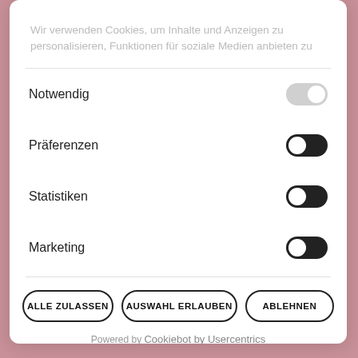Wir verwenden Cookies, um Inhalte und Anzeigen zu personalisieren, Funktionen für soziale Medien anbieten zu
Notwendig
Präferenzen
Statistiken
Marketing
ALLE ZULASSEN | AUSWAHL ERLAUBEN | ABLEHNEN
Powered by Cookiebot by Usercentrics